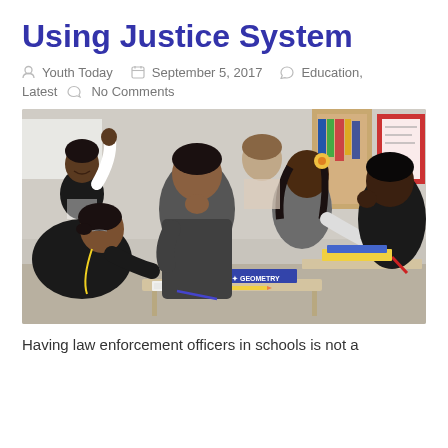Using Justice System
Youth Today  September 5, 2017  Education, Latest  No Comments
[Figure (photo): Classroom photo showing diverse middle or high school students sitting at desks, some raising hands, with a Geometry textbook visible on one desk. Students appear attentive and engaged.]
Having law enforcement officers in schools is not a